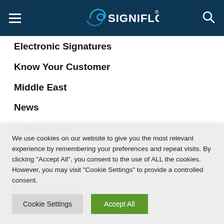SIGNIFLOW
Electronic Signatures
Know Your Customer
Middle East
News
Partnerships
Portfolios
Product Updates
Release Notes
We use cookies on our website to give you the most relevant experience by remembering your preferences and repeat visits. By clicking "Accept All", you consent to the use of ALL the cookies. However, you may visit "Cookie Settings" to provide a controlled consent.
Cookie Settings | Accept All